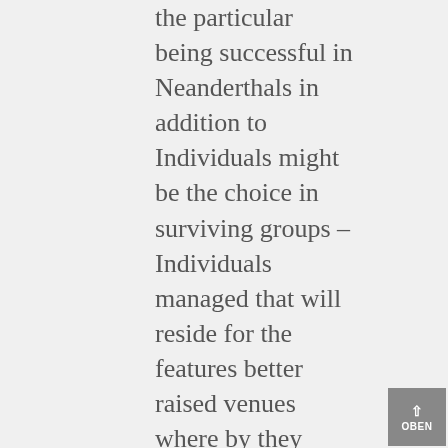the particular being successful in Neanderthals in addition to Individuals might be the choice in surviving groups – Individuals managed that will reside for the features better raised venues where by they would see the steps involved with this online game herds needed for both businesses to make foodstuff to